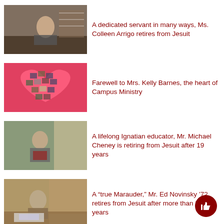[Figure (photo): Woman sitting at a desk in an office setting]
A dedicated servant in many ways, Ms. Colleen Arrigo retires from Jesuit
[Figure (photo): Heart-shaped photo collage on a pink background]
Farewell to Mrs. Kelly Barnes, the heart of Campus Ministry
[Figure (photo): Man standing in a classroom or office]
A lifelong Ignatian educator, Mr. Michael Cheney is retiring from Jesuit after 19 years
[Figure (photo): Man sitting at a desk with papers and supplies]
A “true Marauder,” Mr. Ed Novinsky ’72 retires from Jesuit after more than 20 years